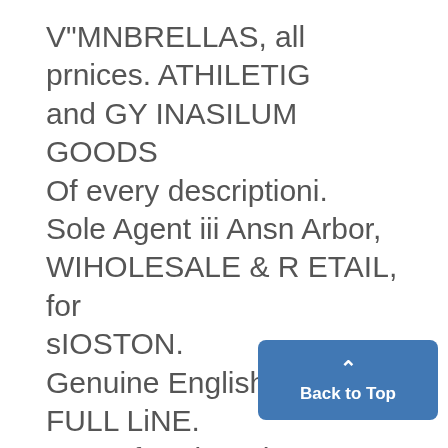V"MNBRELLAS, all prnices. ATHILETIG and GY INASILUM GOODS Of every descriptioni. Sole Agent iii Ansn Arbor, WIHOLESALE & R ETAIL, for sIOSTON. Genuine English Mackintosh, FULL LiNE. Agent for Aim Arbor Steam Lau quick delivery and best work. gA3A$. $PLER1 & g0